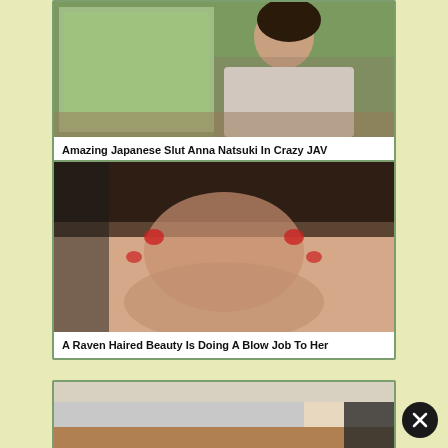[Figure (photo): Thumbnail photo of a Japanese woman sitting near a window looking outside, wearing a white t-shirt]
Amazing Japanese Slut Anna Natsuki In Crazy JAV
[Figure (photo): Explicit adult content thumbnail showing a sexual act]
A Raven Haired Beauty Is Doing A Blow Job To Her
[Figure (photo): Partial thumbnail of a room scene, partially visible]